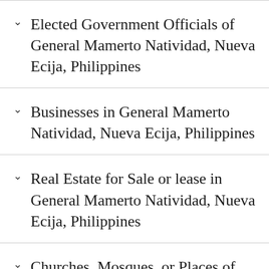Elected Government Officials of General Mamerto Natividad, Nueva Ecija, Philippines
Businesses in General Mamerto Natividad, Nueva Ecija, Philippines
Real Estate for Sale or lease in General Mamerto Natividad, Nueva Ecija, Philippines
Churches, Mosques, or Places of Worship in General Mamerto Natividad…